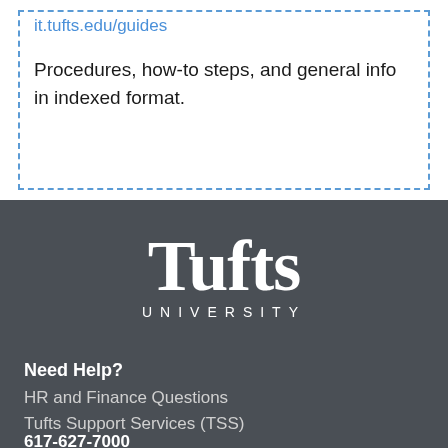it.tufts.edu/guides
Procedures, how-to steps, and general info in indexed format.
[Figure (logo): Tufts University logo in white text on dark gray background]
Need Help?
HR and Finance Questions
Tufts Support Services (TSS)
617-627-7000